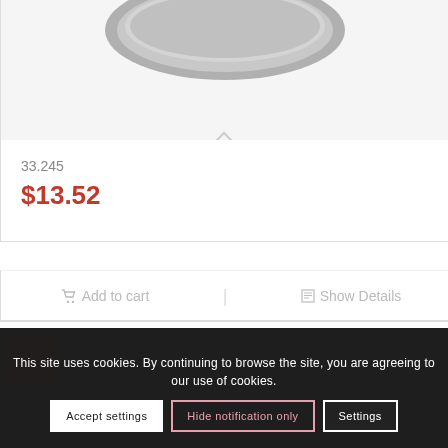[Figure (photo): Partial view of a metallic coin or disc, gray/silver, shown at the top of a product card]
33.245
$13.52
Add to cart
Show Details
This site uses cookies. By continuing to browse the site, you are agreeing to our use of cookies.
Accept settings
Hide notification only
Settings